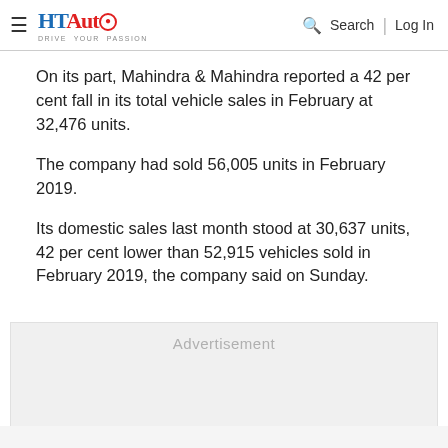HT Auto — Drive Your Passion | Search | Log In
On its part, Mahindra & Mahindra reported a 42 per cent fall in its total vehicle sales in February at 32,476 units.
The company had sold 56,005 units in February 2019.
Its domestic sales last month stood at 30,637 units, 42 per cent lower than 52,915 vehicles sold in February 2019, the company said on Sunday.
[Figure (other): Advertisement placeholder box with light grey background]